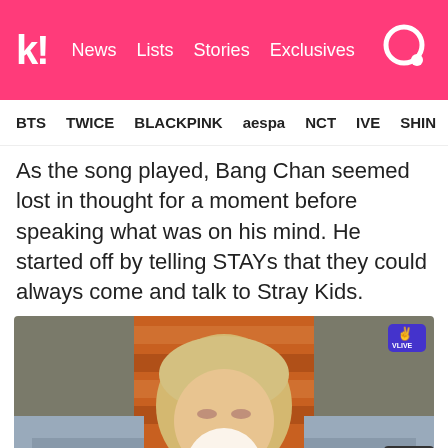kl! News Lists Stories Exclusives
BTS TWICE BLACKPINK aespa NCT IVE SHIN
As the song played, Bang Chan seemed lost in thought for a moment before speaking what was on his mind. He started off by telling STAYs that they could always come and talk to Stray Kids.
[Figure (screenshot): Video thumbnail showing a person with blonde hair sitting in front of an orange partition, wearing a black top, with grey sofas visible. A play button overlay is shown in the center and a VLIVE badge in the top right corner.]